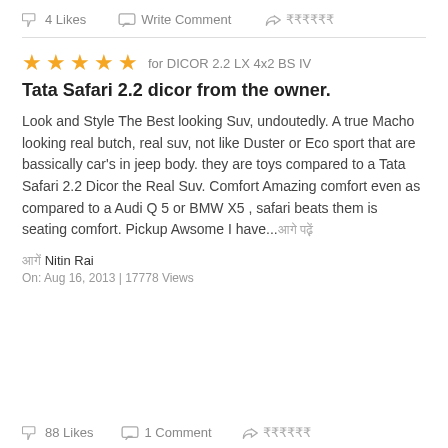4 Likes   Write Comment
★★★★★ for DICOR 2.2 LX 4x2 BS IV
Tata Safari 2.2 dicor from the owner.
Look and Style The Best looking Suv, undoutedly. A true Macho looking real butch, real suv, not like Duster or Eco sport that are bassically car's in jeep body. they are toys compared to a Tata Safari 2.2 Dicor the Real Suv. Comfort Amazing comfort even as compared to a Audi Q 5 or BMW X5 , safari beats them is seating comfort. Pickup Awsome I have...
Nitin Rai
On: Aug 16, 2013 | 17778 Views
88 Likes   1 Comment